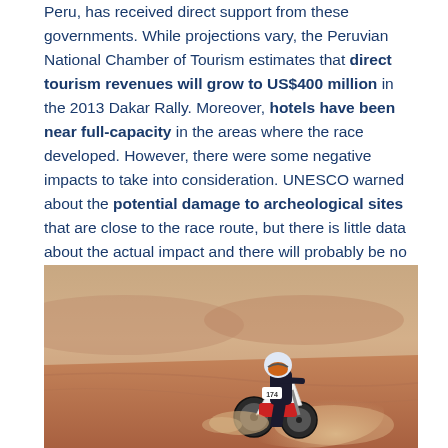Peru, has received direct support from these governments. While projections vary, the Peruvian National Chamber of Tourism estimates that direct tourism revenues will grow to US$400 million in the 2013 Dakar Rally. Moreover, hotels have been near full-capacity in the areas where the race developed. However, there were some negative impacts to take into consideration. UNESCO warned about the potential damage to archeological sites that are close to the race route, but there is little data about the actual impact and there will probably be no follow-up in such remote areas.
[Figure (photo): A motorcyclist wearing a helmet and racing gear rides a dirt bike (number 174) across a desert landscape with sandy dunes and a dusty haze in the background, likely from the Dakar Rally.]